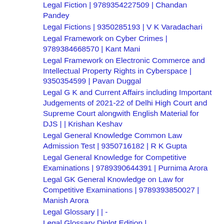Legal Fiction | 9789354227509 | Chandan Pandey
Legal Fictions | 9350285193 | V K Varadachari
Legal Framework on Cyber Crimes | 9789384668570 | Kant Mani
Legal Framework on Electronic Commerce and Intellectual Property Rights in Cyberspace | 9350354599 | Pavan Duggal
Legal G K and Current Affairs including Important Judgements of 2021-22 of Delhi High Court and Supreme Court alongwith English Material for DJS | | Krishan Keshav
Legal General Knowledge Common Law Admission Test | 9350716182 | R K Gupta
Legal General Knowledge for Competitive Examinations | 9789390644391 | Purnima Arora
Legal GK General Knowledge on Law for Competitive Examinations | 9789393850027 | Manish Arora
Legal Glossary | | -
Legal Glossary Diglot Edition |